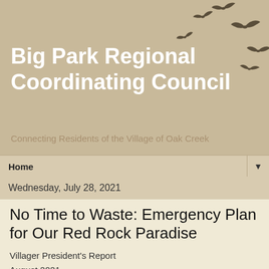Big Park Regional Coordinating Council
Connecting Residents of the Village of Oak Creek
Home ▼
Wednesday, July 28, 2021
No Time to Waste: Emergency Plan for Our Red Rock Paradise
Villager President's Report
August 2021
Camille Cox, President
No Time to Waste: Emergency Plan for Our Red Rock Paradise